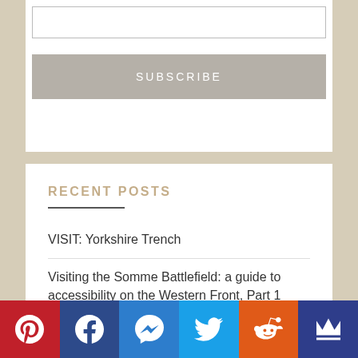SUBSCRIBE
RECENT POSTS
VISIT: Yorkshire Trench
Visiting the Somme Battlefield: a guide to accessibility on the Western Front, Part 1
Lille: the Old Town – a gentle walk around the mediaeval city
[Figure (infographic): Social media share buttons: Pinterest (red), Facebook (dark blue), Messenger (blue), Twitter (light blue), Reddit (orange), Crown/other (dark blue)]